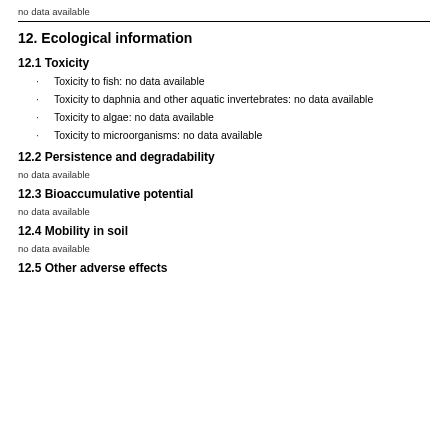no data available
12. Ecological information
12.1 Toxicity
Toxicity to fish: no data available
Toxicity to daphnia and other aquatic invertebrates: no data available
Toxicity to algae: no data available
Toxicity to microorganisms: no data available
12.2 Persistence and degradability
no data available
12.3 Bioaccumulative potential
no data available
12.4 Mobility in soil
no data available
12.5 Other adverse effects